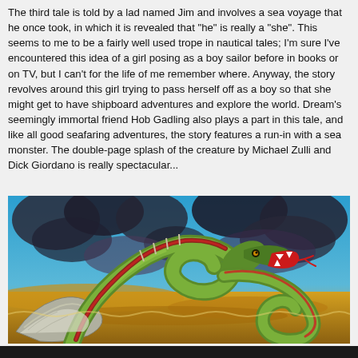The third tale is told by a lad named Jim and involves a sea voyage that he once took, in which it is revealed that "he" is really a "she". This seems to me to be a fairly well used trope in nautical tales; I'm sure I've encountered this idea of a girl posing as a boy sailor before in books or on TV, but I can't for the life of me remember where. Anyway, the story revolves around this girl trying to pass herself off as a boy so that she might get to have shipboard adventures and explore the world. Dream's seemingly immortal friend Hob Gadling also plays a part in this tale, and like all good seafaring adventures, the story features a run-in with a sea monster. The double-page splash of the creature by Michael Zulli and Dick Giordano is really spectacular...
[Figure (illustration): Comic book illustration of a large green and red sea serpent/monster with scales, open mouth showing fangs and red tongue, coiled body against a dramatic background of dark storm clouds and golden/orange waves.]